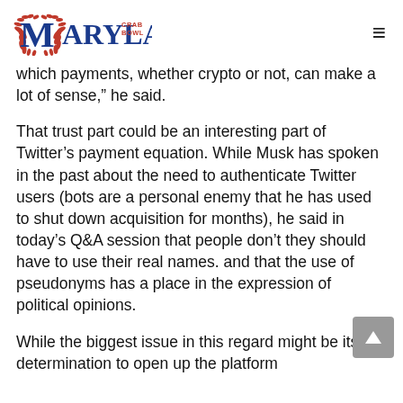MARYLAND CRAB BOWL
which payments, whether crypto or not, can make a lot of sense,” he said.
That trust part could be an interesting part of Twitter’s payment equation. While Musk has spoken in the past about the need to authenticate Twitter users (bots are a personal enemy that he has used to shut down acquisition for months), he said in today’s Q&A session that people don’t they should have to use their real names. and that the use of pseudonyms has a place in the expression of political opinions.
While the biggest issue in this regard might be its determination to open up the platform